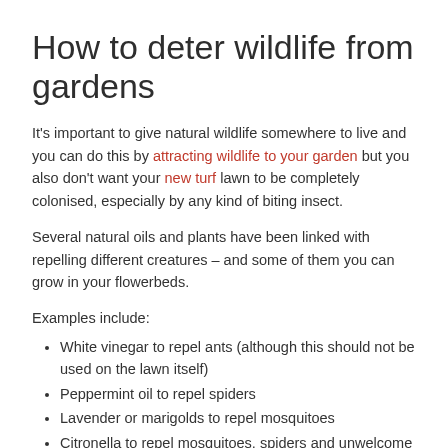How to deter wildlife from gardens
It's important to give natural wildlife somewhere to live and you can do this by attracting wildlife to your garden but you also don't want your new turf lawn to be completely colonised, especially by any kind of biting insect.
Several natural oils and plants have been linked with repelling different creatures – and some of them you can grow in your flowerbeds.
Examples include:
White vinegar to repel ants (although this should not be used on the lawn itself)
Peppermint oil to repel spiders
Lavender or marigolds to repel mosquitoes
Citronella to repel mosquitoes, spiders and unwelcome cats
Check if a substance is harmful to grass (e.g. vinegar) and, if it is,